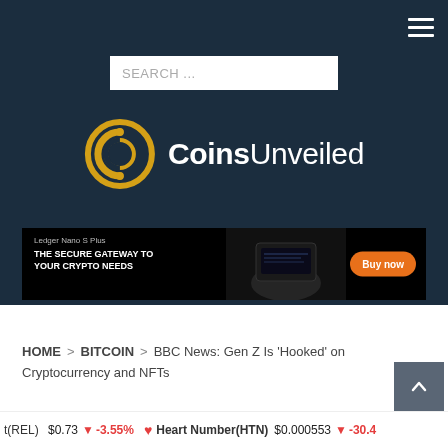CoinsUnveiled website header with dark navy background, search bar, and logo
[Figure (logo): CoinsUnveiled logo: yellow circular coin icon on left, white text 'CoinsUnveiled' with 'Coins' bold and 'Unveiled' regular weight]
[Figure (infographic): Ledger Nano S Plus advertisement banner: black background, text 'Ledger Nano S Plus - THE SECURE GATEWAY TO YOUR CRYPTO NEEDS', image of device, orange 'Buy now' button]
HOME > BITCOIN > BBC News: Gen Z Is 'Hooked' on Cryptocurrency and NFTs
t(REL) $0.73 ↓ -3.55% Heart Number(HTN) $0.000553 ↓ -30.4